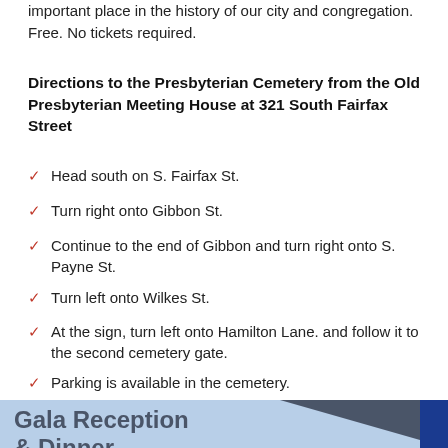important place in the history of our city and congregation. Free. No tickets required.
Directions to the Presbyterian Cemetery from the Old Presbyterian Meeting House at 321 South Fairfax Street
Head south on S. Fairfax St.
Turn right onto Gibbon St.
Continue to the end of Gibbon and turn right onto S. Payne St.
Turn left onto Wilkes St.
At the sign, turn left onto Hamilton Lane. and follow it to the second cemetery gate.
Parking is available in the cemetery.
[Figure (other): Gala Reception & Dinner banner with light blue background and dark gray diagonal triangle]